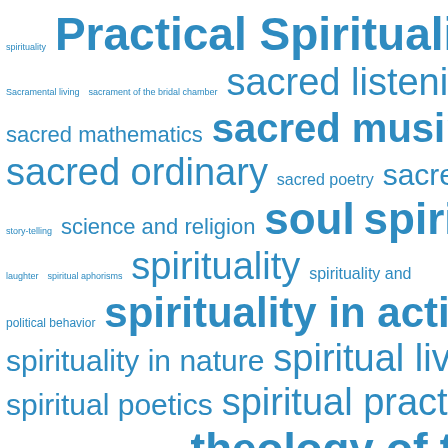[Figure (infographic): Tag cloud of spirituality and religion related terms in varying font sizes, all in blue. Terms include: spirituality, Practical Spirituality, ritual rosary, Sacramental living, sacrament of the bridal chamber, sacred listening, sacred mathematics, sacred musings, sacred ordinary, sacred poetry, sacred spaces, sacred story-telling, science and religion, soul, spirit, spirit and laughter, spiritual aphorisms, spirituality, spirituality and political behavior, spirituality in action, spirituality in nature, spiritual living, spiritual poetics, spiritual practice, spiritual questioning, subpersonalities, theology, theology of the]